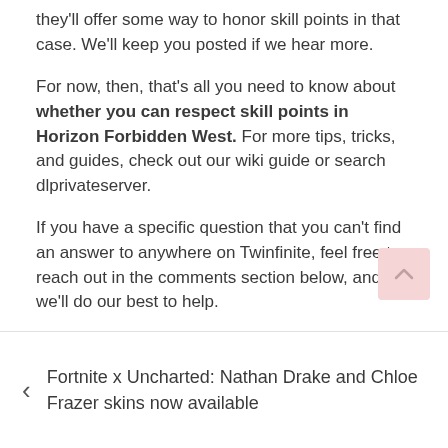they'll offer some way to honor skill points in that case. We'll keep you posted if we hear more.
For now, then, that's all you need to know about whether you can respect skill points in Horizon Forbidden West. For more tips, tricks, and guides, check out our wiki guide or search dlprivateserver.
If you have a specific question that you can't find an answer to anywhere on Twinfinite, feel free to reach out in the comments section below, and we'll do our best to help.
search to get more
Tags: horizon dawn forbidden west, is horizon forbidden west on ps4
Fortnite x Uncharted: Nathan Drake and Chloe Frazer skins now available